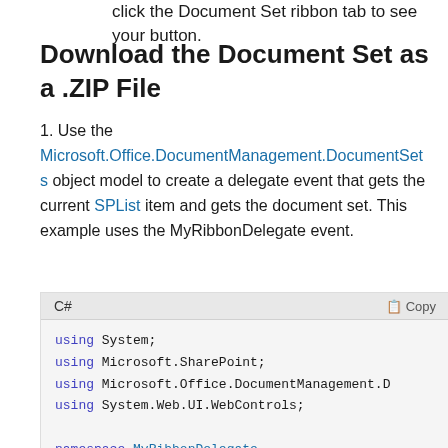click the Document Set ribbon tab to see your button.
Download the Document Set as a .ZIP File
1. Use the Microsoft.Office.DocumentManagement.DocumentSets object model to create a delegate event that gets the current SPList item and gets the document set. This example uses the MyRibbonDelegate event.
C#
using System;
using Microsoft.SharePoint;
using Microsoft.Office.DocumentManagement.D
using System.Web.UI.WebControls;

namespace MyRibbonDelegate
{
    public class MyRibbonDelegateClass : We
    {